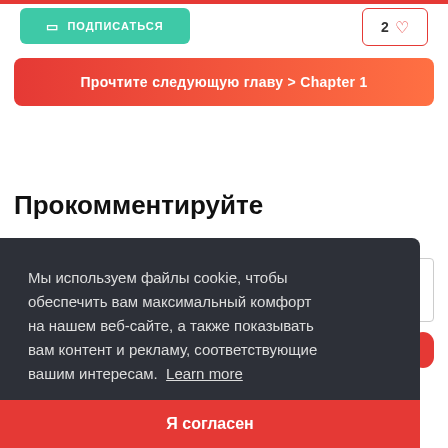[Figure (screenshot): Subscribe button (green, teal) with bookmark icon and text ПОДПИСАТЬСЯ]
[Figure (screenshot): Like/heart button with number 2 and heart icon, outlined in red]
[Figure (screenshot): Red-to-orange gradient banner: Прочтите следующую главу > Chapter 1]
Прокомментируйте
Мы используем файлы cookie, чтобы обеспечить вам максимальный комфорт на нашем веб-сайте, а также показывать вам контент и рекламу, соответствующие вашим интересам.  Learn more
Я согласен